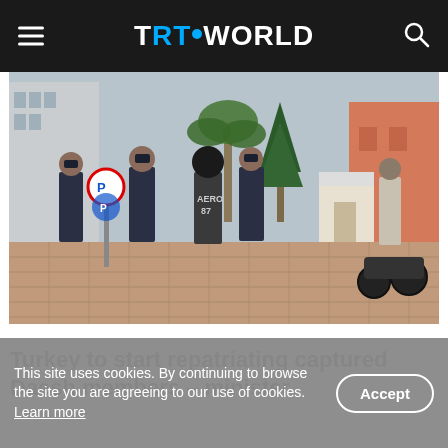TRT WORLD
[Figure (photo): Turkish gendarmes in dark uniforms escorting a hooded suspect in handcuffs along a brick-paved street, with buildings and a palm tree visible in the background.]
Turkey to start repatriating captured Daesh members – minister
This site uses cookies. By continuing to browse the site you are agreeing to our use of cookies. Learn more